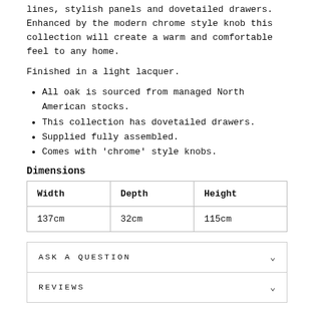lines, stylish panels and dovetailed drawers. Enhanced by the modern chrome style knob this collection will create a warm and comfortable feel to any home.
Finished in a light lacquer.
All oak is sourced from managed North American stocks.
This collection has dovetailed drawers.
Supplied fully assembled.
Comes with 'chrome' style knobs.
Dimensions
| Width | Depth | Height |
| --- | --- | --- |
| 137cm | 32cm | 115cm |
ASK A QUESTION
REVIEWS